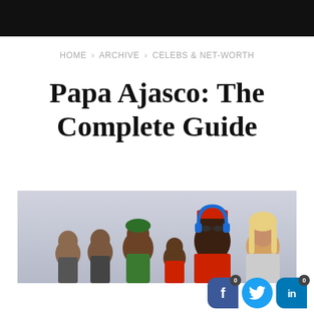HOME › ARCHIVE › CELEBS & NET-WORTH
Papa Ajasco: The Complete Guide
[Figure (photo): Group photo of several people including a man in a cap and sunglasses with blue headphones, a woman in a green outfit with a head wrap, a blonde woman, and others, against a light blue-grey background.]